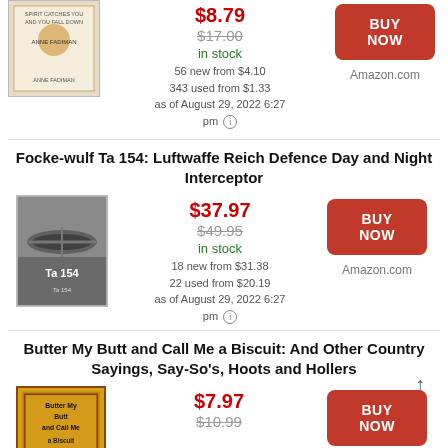[Figure (photo): Book cover for 'The Spirit Catches You and You Fall Down' by Anne Fadiman]
$8.79 (sale price), $17.00 (original), in stock, 56 new from $4.10, 343 used from $1.33, as of August 29, 2022 6:27 pm
[Figure (other): BUY NOW button - Amazon.com]
Focke-wulf Ta 154: Luftwaffe Reich Defence Day and Night Interceptor
[Figure (photo): Book cover for 'Ta 154' showing WWII aircraft]
$37.97 (sale price), $49.95 (original), in stock, 18 new from $31.38, 22 used from $20.19, as of August 29, 2022 6:27 pm
[Figure (other): BUY NOW button - Amazon.com]
Butter My Butt and Call Me a Biscuit: And Other Country Sayings, Say-So's, Hoots and Hollers
[Figure (photo): Book cover for 'Butter My Butt and Call Me a Biscuit']
$7.97 (sale price), $10.99 (original)
[Figure (other): BUY NOW button]